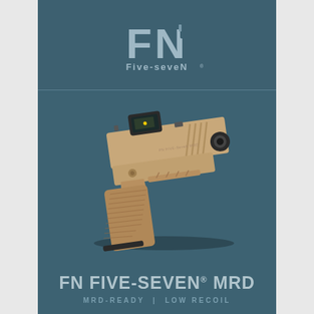[Figure (logo): FN logo with large bold letters FN and Five-seveN brand name below on dark teal background]
[Figure (photo): FN Five-seveN MRD pistol in flat dark earth / coyote tan finish with red dot optic mounted on slide, shown at angle against dark teal background]
FN FIVE-SEVEN® MRD
MRD-READY | LOW RECOIL